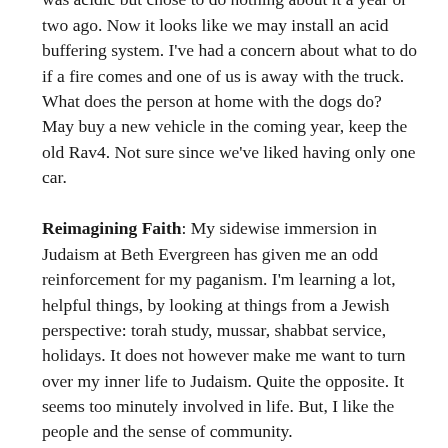corroded thanks to acidic water. I knew the water was acidic but chose to do nothing about it a year or two ago. Now it looks like we may install an acid buffering system. I've had a concern about what to do if a fire comes and one of us is away with the truck. What does the person at home with the dogs do? May buy a new vehicle in the coming year, keep the old Rav4. Not sure since we've liked having only one car.
Reimagining Faith: My sidewise immersion in Judaism at Beth Evergreen has given me an odd reinforcement for my paganism. I'm learning a lot, helpful things, by looking at things from a Jewish perspective: torah study, mussar, shabbat service, holidays. It does not however make me want to turn over my inner life to Judaism. Quite the opposite. It seems too minutely involved in life. But, I like the people and the sense of community.
Television, Cinema, Theater, Music: Still pretty much